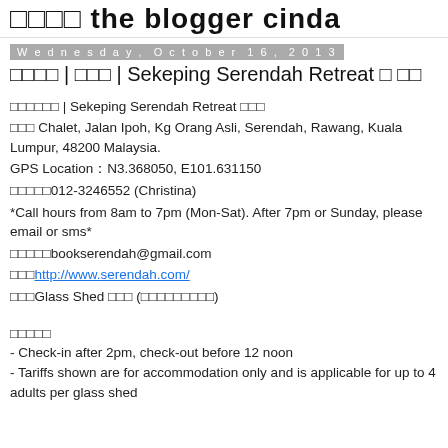□□□□ the blogger cinda
Wednesday, October 16, 2013
□□□□ | □□□ | Sekeping Serendah Retreat □ □□
□□□□□□ | Sekeping Serendah Retreat □□□
□□□ Chalet, Jalan Ipoh, Kg Orang Asli, Serendah, Rawang, Kuala Lumpur, 48200 Malaysia.
GPS Location：N3.368050, E101.631150
□□□□□012-3246552 (Christina)
*Call hours from 8am to 7pm (Mon-Sat). After 7pm or Sunday, please email or sms*
□□□□□bookserendah@gmail.com
□□□http://www.serendah.com/
□□□Glass Shed □□□ (□□□□□□□□□)
□□□□□
- Check-in after 2pm, check-out before 12 noon
- Tariffs shown are for accommodation only and is applicable for up to 4 adults per glass shed